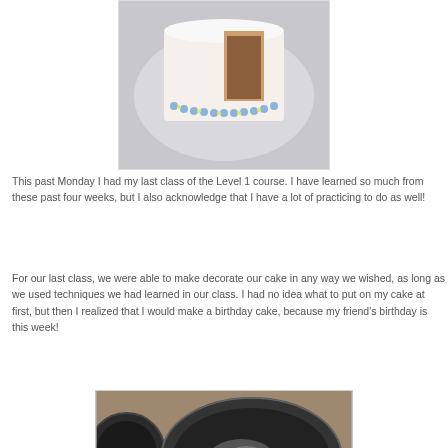[Figure (photo): A white decorated cake with blue and yellow frosting border, with a slice removed revealing the inside, on a plate.]
This past Monday I had my last class of the Level 1 course.  I have learned so much from these past four weeks, but I also acknowledge that I have a lot of practicing to do as well!
For our last class, we were able to make decorate our cake in any way we wished, as long as we used techniques we had learned in our class.  I had no idea what to put on my cake at first, but then I realized that I would make a birthday cake, because my friend's birthday is this week!
[Figure (photo): Dark metal round cake pans dusted with flour, viewed from above on a countertop.]